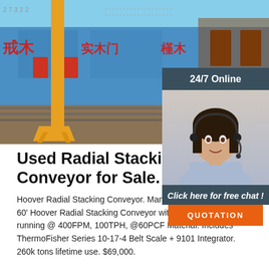[Figure (photo): Outdoor photo of industrial conveyor equipment with a yellow vertical stacking conveyor column at a construction site. Blue wall with red Chinese characters visible in background. Rails and ground visible at base.]
[Figure (photo): 24/7 Online chat widget showing a smiling female customer service agent wearing a headset, with dark teal header saying '24/7 Online', italic text 'Click here for free chat!', and an orange QUOTATION button.]
Used Radial Stacking Conveyor for Sale. Superior
Hoover Radial Stacking Conveyor. Manufacturer: Hoover. 24' x 60' Hoover Radial Stacking Conveyor with a 15hp motor running @ 400FPM, 100TPH, @60PCF Material. Includes ThermoFisher Series 10-17-4 Belt Scale + 9101 Integrator. 260k tons lifetime use. $69,000.